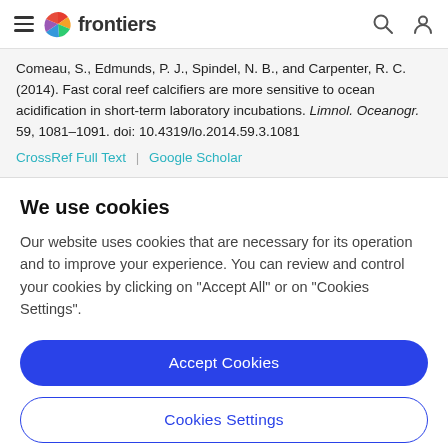frontiers
Comeau, S., Edmunds, P. J., Spindel, N. B., and Carpenter, R. C. (2014). Fast coral reef calcifiers are more sensitive to ocean acidification in short-term laboratory incubations. Limnol. Oceanogr. 59, 1081–1091. doi: 10.4319/lo.2014.59.3.1081
CrossRef Full Text | Google Scholar
We use cookies
Our website uses cookies that are necessary for its operation and to improve your experience. You can review and control your cookies by clicking on "Accept All" or on "Cookies Settings".
Accept Cookies
Cookies Settings